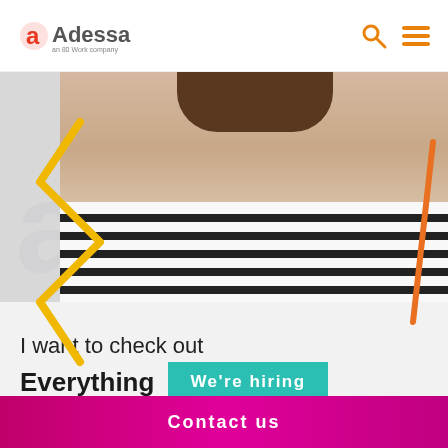[Figure (logo): Adessa logo — red stylized 'a' icon with 'Adessa' wordmark and subtitle 'an 80 Work company']
[Figure (photo): Smiling young woman with glasses and striped shirt, overlaid with a yellow squiggle graphic and orange diagonal line, with faint 'adessa' watermark text in the background]
I want to check out
Everything
We're hiring
Contact us